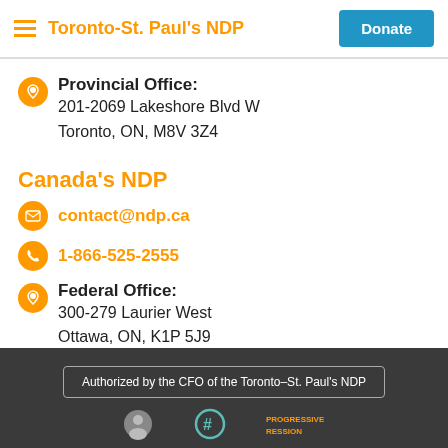Toronto-St. Paul's NDP | Donate
Provincial Office:
201-2069 Lakeshore Blvd W
Toronto, ON, M8V 3Z4
Canada's NDP
contact@ndp.ca
1-866-525-2555
Federal Office:
300-279 Laurier West
Ottawa, ON, K1P 5J9
Authorized by the CFO of the Toronto-St. Paul's NDP